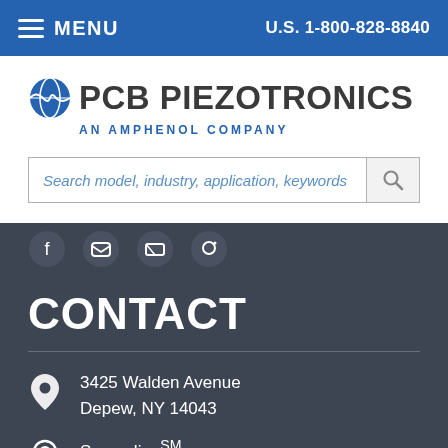MENU  U.S. 1-800-828-8840
[Figure (logo): PCB Piezotronics logo with globe icon and tagline AN AMPHENOL COMPANY]
Search model, industry, application, keywords
[Figure (other): Social media icon circles (partial view)]
CONTACT
3425 Walden Avenue
Depew, NY 14043
SensorlineSM